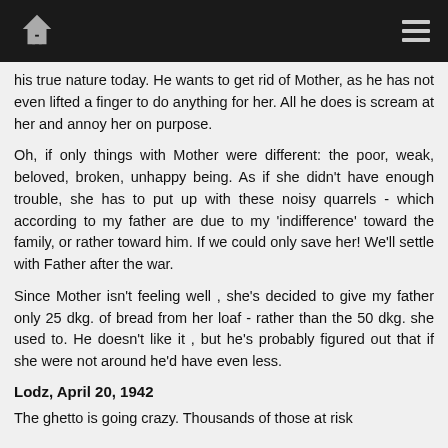[Home icon] [Menu icon]
his true nature today. He wants to get rid of Mother, as he has not even lifted a finger to do anything for her. All he does is scream at her and annoy her on purpose.
Oh, if only things with Mother were different: the poor, weak, beloved, broken, unhappy being. As if she didn't have enough trouble, she has to put up with these noisy quarrels - which according to my father are due to my 'indifference' toward the family, or rather toward him. If we could only save her! We'll settle with Father after the war.
Since Mother isn't feeling well , she's decided to give my father only 25 dkg. of bread from her loaf - rather than the 50 dkg. she used to. He doesn't like it , but he's probably figured out that if she were not around he'd have even less.
Lodz, April 20, 1942
The ghetto is going crazy. Thousands of those at risk